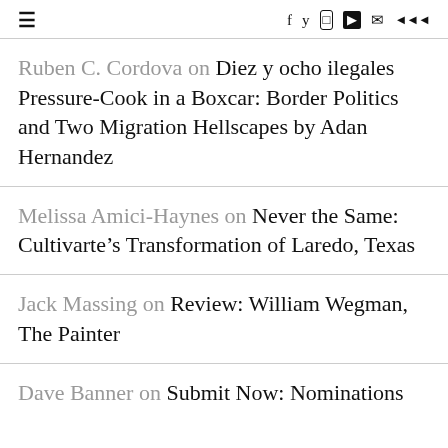≡  f  y  ⊙  ▶  ✉  ☁
Ruben C. Cordova on Diez y ocho ilegales Pressure-Cook in a Boxcar: Border Politics and Two Migration Hellscapes by Adan Hernandez
Melissa Amici-Haynes on Never the Same: Cultivarte's Transformation of Laredo, Texas
Jack Massing on Review: William Wegman, The Painter
Dave Banner on Submit Now: Nominations